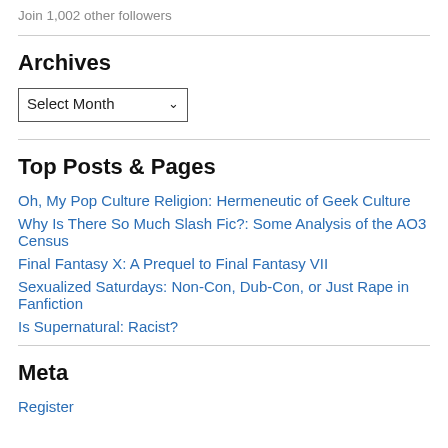Join 1,002 other followers
Archives
Select Month (dropdown)
Top Posts & Pages
Oh, My Pop Culture Religion: Hermeneutic of Geek Culture
Why Is There So Much Slash Fic?: Some Analysis of the AO3 Census
Final Fantasy X: A Prequel to Final Fantasy VII
Sexualized Saturdays: Non-Con, Dub-Con, or Just Rape in Fanfiction
Is Supernatural: Racist?
Meta
Register